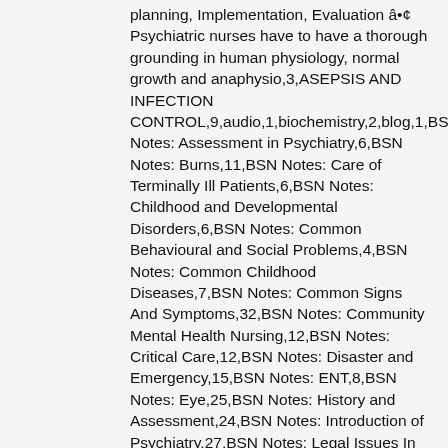planning, Implementation, Evaluation â€¢ Psychiatric nurses have to have a thorough grounding in human physiology, normal growth and anaphysio,3,ASEPSIS AND INFECTION CONTROL,9,audio,1,biochemistry,2,blog,1,BSN Notes: Assessment in Psychiatry,6,BSN Notes: Burns,11,BSN Notes: Care of Terminally Ill Patients,6,BSN Notes: Childhood and Developmental Disorders,6,BSN Notes: Common Behavioural and Social Problems,4,BSN Notes: Common Childhood Diseases,7,BSN Notes: Common Signs And Symptoms,32,BSN Notes: Community Mental Health Nursing,12,BSN Notes: Critical Care,12,BSN Notes: Disaster and Emergency,15,BSN Notes: ENT,8,BSN Notes: Eye,25,BSN Notes: History and Assessment,24,BSN Notes: Introduction of Psychiatry,27,BSN Notes: Legal Issues In Psychiatry,4,BSN Notes: Medication Administration,24,BSN Notes: Neuritic_Stress related and Somatization Disorders,10,BSN Notes: Neurology,6,BSN Notes: Oncological Nursing,8,BSN Notes: Organic Brain Disorders,1,BSN Notes: Oxygenation,3,BSN